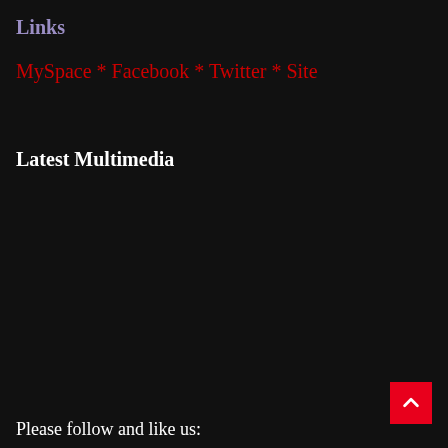Links
MySpace * Facebook * Twitter * Site
Latest Multimedia
Please follow and like us: